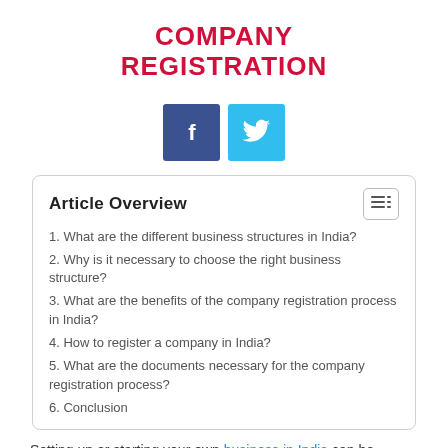COMPANY REGISTRATION
[Figure (infographic): Social media share buttons: Facebook (blue) and Twitter (light blue) icons]
Article Overview
1. What are the different business structures in India?
2. Why is it necessary to choose the right business structure?
3. What are the benefits of the company registration process in India?
4. How to register a company in India?
5. What are the documents necessary for the company registration process?
6. Conclusion
Setting up or starting your own business in India can be